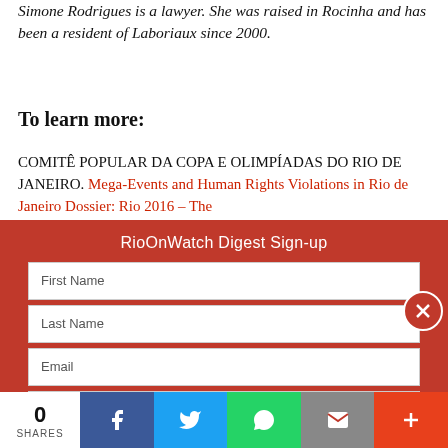Simone Rodrigues is a lawyer. She was raised in Rocinha and has been a resident of Laboriaux since 2000.
To learn more:
COMITÊ POPULAR DA COPA E OLIMPÍADAS DO RIO DE JANEIRO. Mega-Events and Human Rights Violations in Rio de Janeiro Dossier: Rio 2016 – The
RioOnWatch Digest Sign-up
First Name
Last Name
Email
Organization
Country
0 SHARES